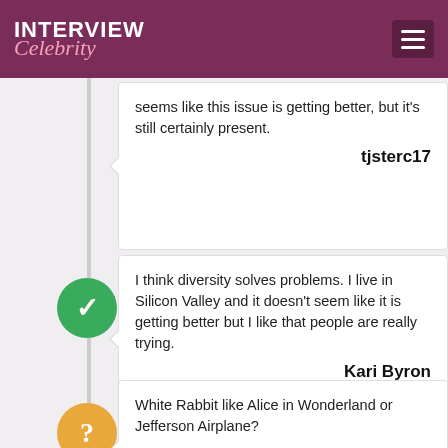INTERVIEW Celebrity
seems like this issue is getting better, but it's still certainly present.
tjsterc17
I think diversity solves problems. I live in Silicon Valley and it doesn't seem like it is getting better but I like that people are really trying.
Kari Byron
White Rabbit like Alice in Wonderland or Jefferson Airplane?
EvanLIX